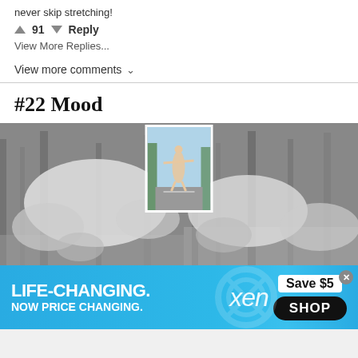never skip stretching!
↑ 91 ↓ Reply
View More Replies...
View more comments ∨
#22 Mood
[Figure (photo): Black and white photo collage: large blurry close-up photos of a figure stretching/doing yoga in a forest, with a small color inset photo in the center showing a person standing with arms outstretched on a road.]
[Figure (infographic): Advertisement banner: blue background with text 'LIFE-CHANGING. NOW PRICE CHANGING.' and 'xen' logo, 'Save $5' and 'SHOP' button on right side.]